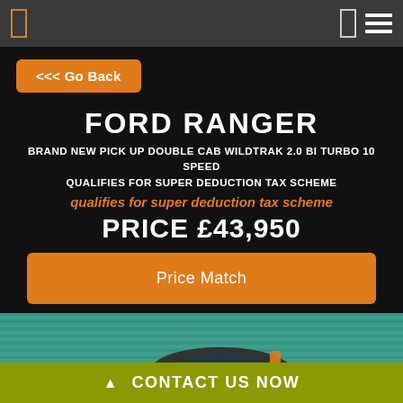Navigation header with back button icon and hamburger menu
<<< Go Back
FORD RANGER
BRAND NEW PICK UP DOUBLE CAB WILDTRAK 2.0 BI TURBO 10 SPEED QUALIFIES FOR SUPER DEDUCTION TAX SCHEME
qualifies for super deduction tax scheme
PRICE £43,950
Price Match
[Figure (photo): Dark coloured Ford Ranger pickup truck parked in front of a teal/green corrugated wall, with an orange accessory visible on the roll bar]
CONTACT US NOW